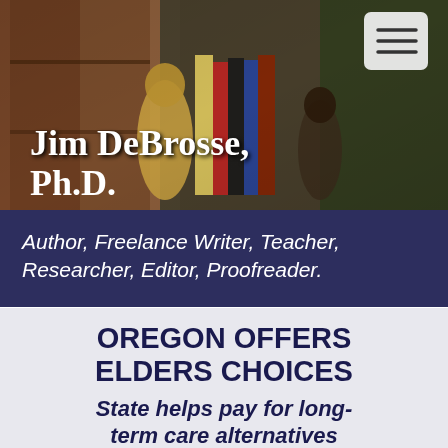[Figure (photo): Header photo of Jim DeBrosse PhD - a room with bookshelves, decorative animal figurines, and books visible, with the author's name overlaid in white text. A hamburger menu icon appears in the upper right corner.]
Jim DeBrosse, Ph.D.
Author, Freelance Writer, Teacher, Researcher, Editor, Proofreader.
OREGON OFFERS ELDERS CHOICES
State helps pay for long-term care alternatives
By Jim DeBrosse
Dayton Daily News (OH) - Wednesday, December 8, 1999